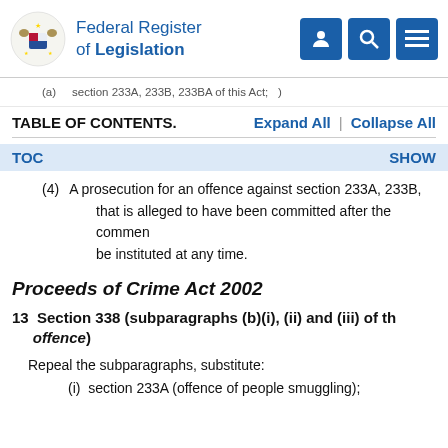Federal Register of Legislation
(a) section 233A, 233B, 233BA of this Act;
TABLE OF CONTENTS.    Expand All  |  Collapse All
TOC    SHOW
(4)  A prosecution for an offence against section 233A, 233B, that is alleged to have been committed after the commencement be instituted at any time.
Proceeds of Crime Act 2002
13  Section 338 (subparagraphs (b)(i), (ii) and (iii) of the offence)
Repeal the subparagraphs, substitute:
(i)  section 233A (offence of people smuggling);